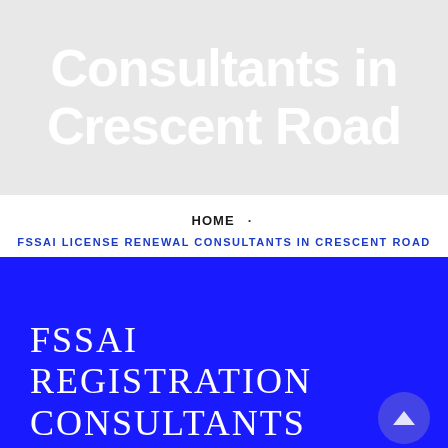Consultants in Crescent Road
HOME · FSSAI LICENSE RENEWAL CONSULTANTS IN CRESCENT ROAD
[Figure (illustration): Blue banner with white serif text reading 'FSSAI REGISTRATION CONSULTANTS' and a semi-transparent scroll-to-top button in the bottom right corner.]